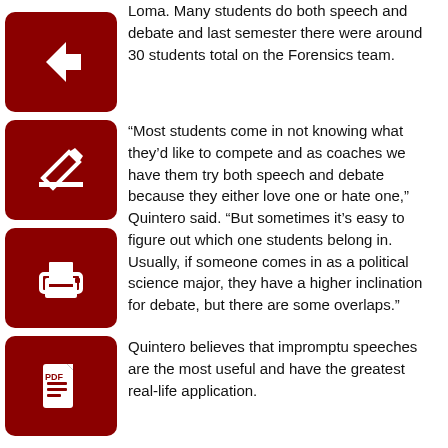Loma. Many students do both speech and debate and last semester there were around 30 students total on the Forensics team.
[Figure (illustration): Red square button with white left-arrow icon (back navigation button)]
“Most students come in not knowing what they’d like to compete and as coaches we have them try both speech and debate because they either love one or hate one,” Quintero said. “But sometimes it’s easy to figure out which one students belong in. Usually, if someone comes in as a political science major, they have a higher inclination for debate, but there are some overlaps.”
[Figure (illustration): Red square button with white edit/pencil icon (edit navigation button)]
[Figure (illustration): Red square button with white printer icon (print navigation button)]
[Figure (illustration): Red square button with white PDF/document icon (PDF navigation button)]
Quintero believes that impromptu speeches are the most useful and have the greatest real-life application.
“You don’t always have time to translate your thoughts and ideas onto paper,” Quintero said.
In the speech sections, everything is an individual process. If a student enjoys working solo and on both presentation and content, that student is usually more inclined to the speech section. The speech side of competitions are called individual events and are judged as such.
“With speech, I like helping students become better speakers, as well as help them to learn to be critical thinkers in the sense of speaking and being able to write an argument and take apart